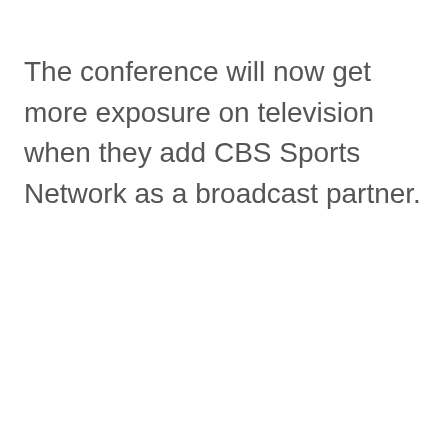The conference will now get more exposure on television when they add CBS Sports Network as a broadcast partner.